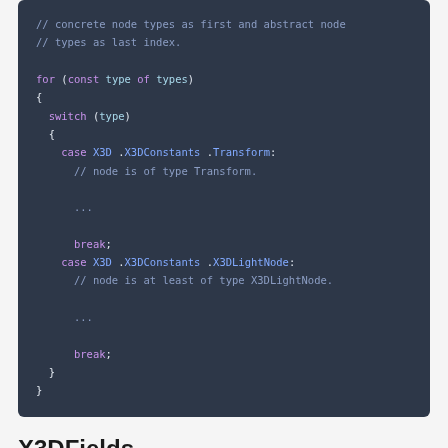[Figure (screenshot): Code block on dark background showing JavaScript for-loop with switch statement handling X3D node types. Comments explain concrete vs abstract node types. Cases handle X3DConstants.Transform and X3DConstants.X3DLightNode.]
X3DFields